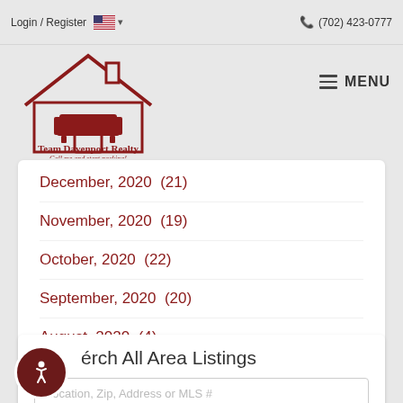Login / Register  🇺🇸 ▾   (702) 423-0777
[Figure (logo): Team Davenport Realty logo — house outline with armchair inside, red/dark red color scheme, text: 'Team Davenport Realty — Call me and start packing!']
December, 2020  (21)
November, 2020  (19)
October, 2020  (22)
September, 2020  (20)
August, 2020  (4)
Grab Our RSS Feed
Search All Area Listings
Location, Zip, Address or MLS #